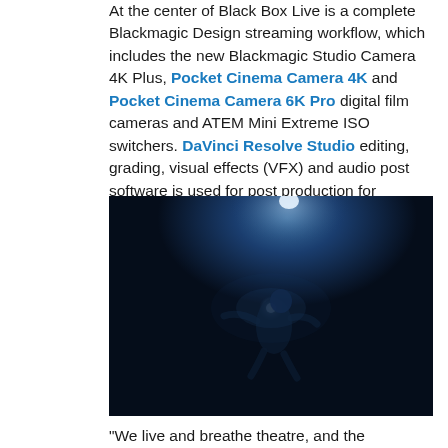At the center of Black Box Live is a complete Blackmagic Design streaming workflow, which includes the new Blackmagic Studio Camera 4K Plus, Pocket Cinema Camera 4K and Pocket Cinema Camera 6K Pro digital film cameras and ATEM Mini Extreme ISO switchers. DaVinci Resolve Studio editing, grading, visual effects (VFX) and audio post software is used for post production for performances available on demand.
[Figure (photo): An underwater photo of a dancer or performer illuminated by a bluish light, floating in dark blue water with a light source visible above them.]
“We live and breathe theatre, and the Blackmagic